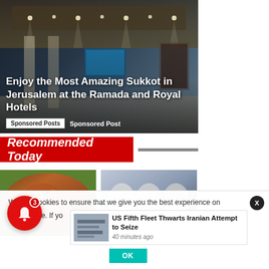[Figure (photo): Hotel lobby interior with elegant lighting, ceiling spotlights, and luxury decor]
Enjoy the Most Amazing Sukkot in Jerusalem at the Ramada and Royal Hotels
Sponsored Posts  Sponsored Post
Recommended Today
[Figure (photo): Close-up photo of an animal, brown fur visible]
[Figure (photo): Black and white sketch/drawing portraits of several men]
We use cookies to ensure that we give you the best experience on our website. If yo
[Figure (screenshot): Small thumbnail image showing news article visual]
US Fifth Fleet Thwarts Iranian Attempt to Seize
40 minutes ago
OK